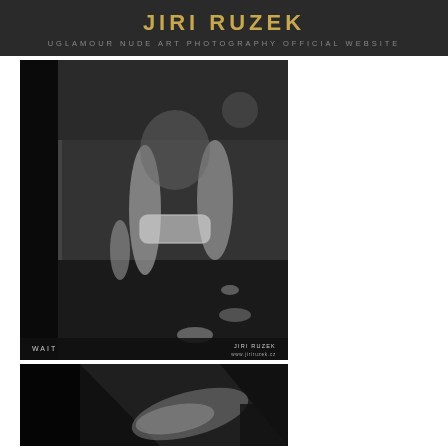JIRI RUZEK
UGLAMOUR NUDE ART PHOTOGRAPHY OFFICIAL WEBSITE
[Figure (photo): Black and white art nude photography by Jiri Ruzek titled 'WAIT', showing figure with lace underwear, legs visible, sitting pose in dark interior setting. Watermark: JIRI RUZEK www.jiriruzek.cz]
[Figure (photo): Black and white art nude photography by Jiri Ruzek, lower portion showing legs/figure in dark atmospheric setting.]